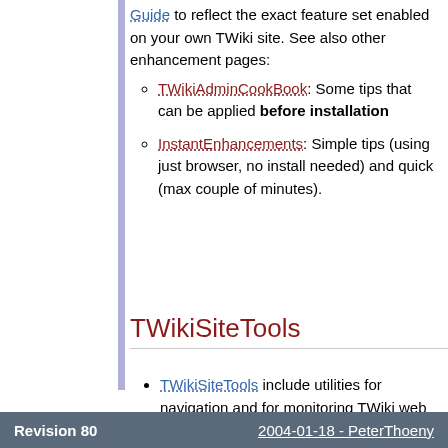Guide to reflect the exact feature set enabled on your own TWiki site. See also other enhancement pages:
TWikiAdminCookBook: Some tips that can be applied before installation
InstantEnhancements: Simple tips (using just browser, no install needed) and quick (max couple of minutes).
TWikiSiteTools
TWikiSiteTools include utilities for navigation and for monitoring TWiki web and site-wide activity.
Revision 80    2004-01-18 - PeterThoeny